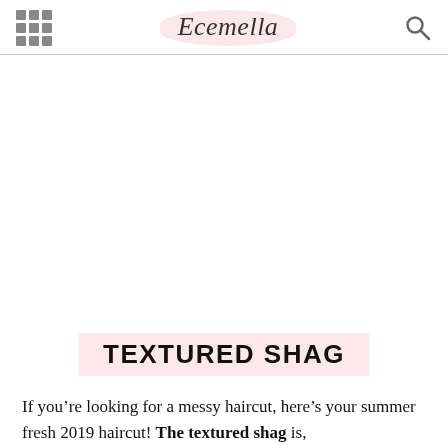Ecemella
TEXTURED SHAG
If you’re looking for a messy haircut, here’s your summer fresh 2019 haircut! The textured shag is,